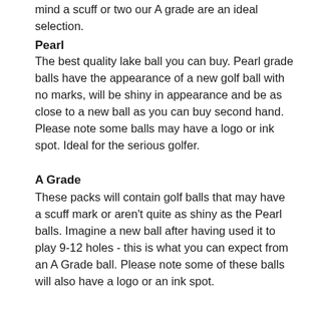mind a scuff or two our A grade are an ideal selection.
Pearl
The best quality lake ball you can buy. Pearl grade balls have the appearance of a new golf ball with no marks, will be shiny in appearance and be as close to a new ball as you can buy second hand. Please note some balls may have a logo or ink spot. Ideal for the serious golfer.
A Grade
These packs will contain golf balls that may have a scuff mark or aren't quite as shiny as the Pearl balls. Imagine a new ball after having used it to play 9-12 holes - this is what you can expect from an A Grade ball. Please note some of these balls will also have a logo or an ink spot.